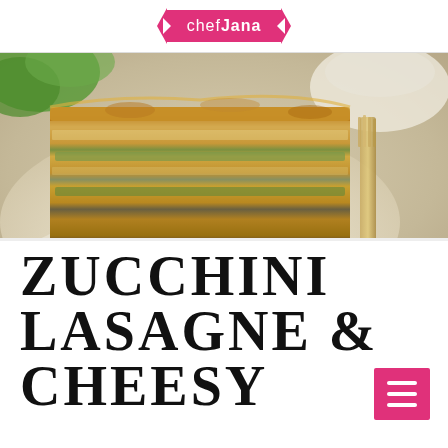chefJana
[Figure (photo): A serving of layered zucchini lasagne with cheesy topping on a white plate, with a fork on the right side and green plants in the background]
ZUCCHINI LASAGNE & CHEESY